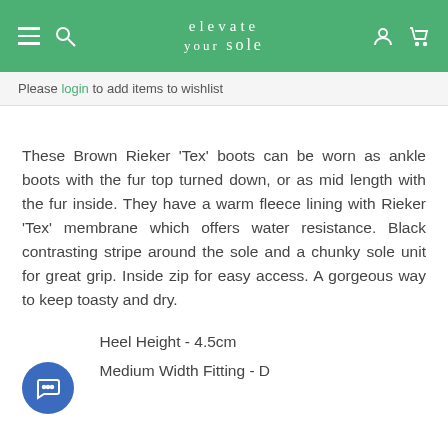elevate your sole
Please login to add items to wishlist
These Brown Rieker 'Tex' boots can be worn as ankle boots with the fur top turned down, or as mid length with the fur inside. They have a warm fleece lining with Rieker 'Tex' membrane which offers water resistance. Black contrasting stripe around the sole and a chunky sole unit for great grip. Inside zip for easy access. A gorgeous way to keep toasty and dry.
Heel Height - 4.5cm
Medium Width Fitting - D